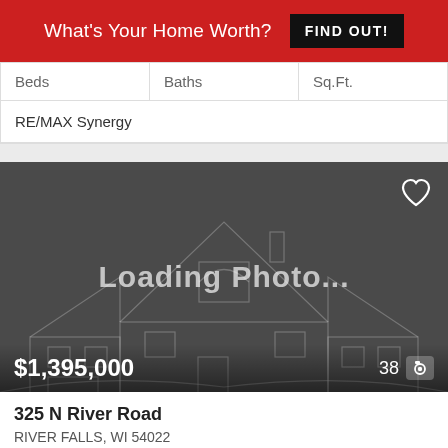What's Your Home Worth? FIND OUT!
| Beds | Baths | Sq.Ft. |
| --- | --- | --- |
| RE/MAX Synergy |  |  |
[Figure (photo): Property listing photo placeholder with dark gray background, house outline illustration, 'Loading Photo...' text, price $1,395,000, and photo count 38]
325 N River Road
RIVER FALLS, WI 54022